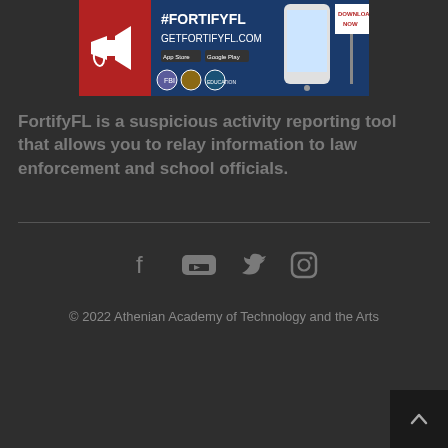[Figure (screenshot): FortifyFL promotional banner showing #FORTIFYFL hashtag, GetFortifyFL.com URL, app store download badges, FBI and Florida Department of Education logos, and a smartphone image with Download Now button]
FortifyFL is a suspicious activity reporting tool that allows you to relay information to law enforcement and school officials.
[Figure (infographic): Social media icons: Facebook, YouTube, Twitter, Instagram]
© 2022 Athenian Academy of Technology and the Arts